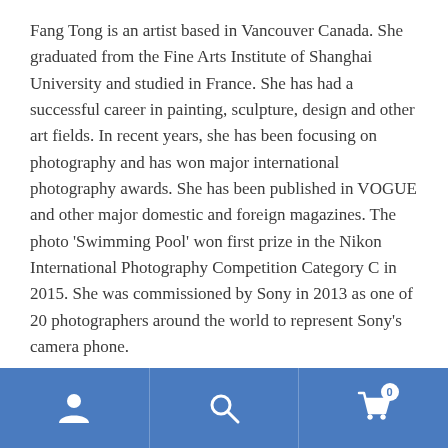Fang Tong is an artist based in Vancouver Canada. She graduated from the Fine Arts Institute of Shanghai University and studied in France. She has had a successful career in painting, sculpture, design and other art fields. In recent years, she has been focusing on photography and has won major international photography awards. She has been published in VOGUE and other major domestic and foreign magazines. The photo 'Swimming Pool' won first prize in the Nikon International Photography Competition Category C in 2015. She was commissioned by Sony in 2013 as one of 20 photographers around the world to represent Sony's camera phone.
Fang Tong is a cinematic style photographer, as a
[Figure (other): Bottom navigation bar with three icons: a user/person icon on the left, a search/magnifying glass icon in the center, and a shopping cart icon with badge showing '0' on the right. The bar has a blue background (#4a7bbf).]